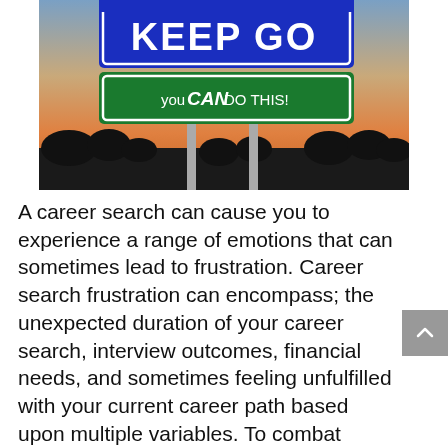[Figure (photo): Photo of highway road signs against a sunset sky with silhouetted trees. Top sign is blue with white text 'KEEP GO...' (partially cut off). Bottom sign is green with white text 'you CAN DO THIS!']
A career search can cause you to experience a range of emotions that can sometimes lead to frustration. Career search frustration can encompass; the unexpected duration of your career search, interview outcomes, financial needs, and sometimes feeling unfulfilled with your current career path based upon multiple variables. To combat frustration, it is important for you to focus on the positive experiences and results of your